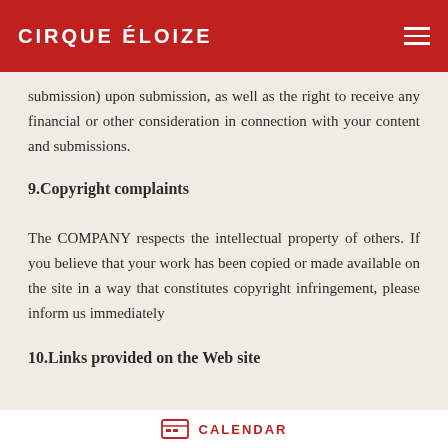CIRQUE ÉLOIZE
submission) upon submission, as well as the right to receive any financial or other consideration in connection with your content and submissions.
9.Copyright complaints
The COMPANY respects the intellectual property of others. If you believe that your work has been copied or made available on the site in a way that constitutes copyright infringement, please inform us immediately
10.Links provided on the Web site
CALENDAR